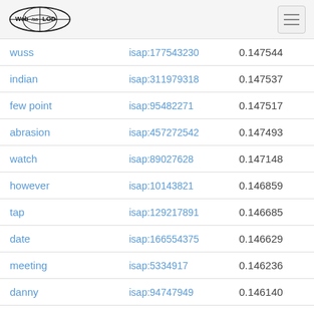Web isa LOD
| wuss | isap:177543230 | 0.147544 |
| indian | isap:311979318 | 0.147537 |
| few point | isap:95482271 | 0.147517 |
| abrasion | isap:457272542 | 0.147493 |
| watch | isap:89027628 | 0.147148 |
| however | isap:10143821 | 0.146859 |
| tap | isap:129217891 | 0.146685 |
| date | isap:166554375 | 0.146629 |
| meeting | isap:5334917 | 0.146236 |
| danny | isap:94747949 | 0.146140 |
| ball | isap:166517799 | 0.146108 |